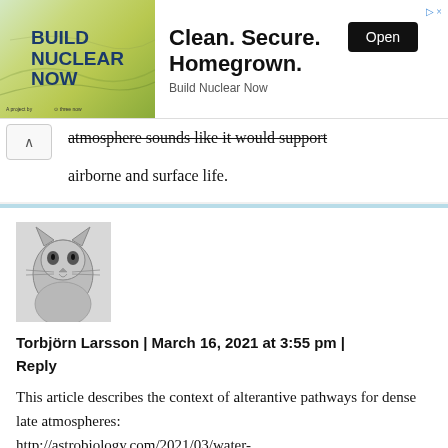[Figure (screenshot): Advertisement banner for 'Build Nuclear Now' with logo image on left and text 'Clean. Secure. Homegrown.' with an 'Open' button on right]
atmosphere sounds like it would support airborne and surface life.
Torbjörn Larsson | March 16, 2021 at 3:55 pm | Reply
This article describes the context of alterantive pathways for dense late atmospheres:
http://astrobiology.com/2021/03/water-